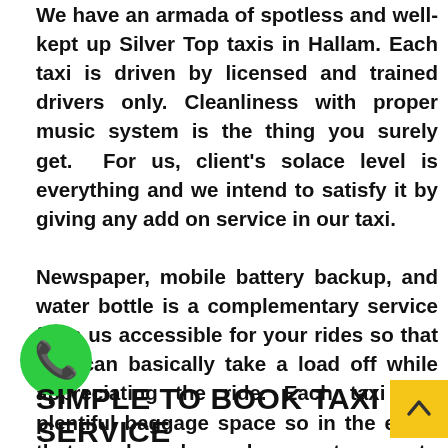We have an armada of spotless and well-kept up Silver Top taxis in Hallam. Each taxi is driven by licensed and trained drivers only. Cleanliness with proper music system is the thing you surely get. For us, client's solace level is everything and we intend to satisfy it by giving any add on service in our taxi.

Newspaper, mobile battery backup, and water bottle is a complementary service from us accessible for your rides so that you can basically take a load off while appreciating the ride. Each taxi has plentiful baggage space so in the event that you have heavy luggage to carry to and from the airport or between two places in the city, it would be effectively. Book online a silver top Hallam with us immediately for agreeable travel.
SIMPLE TO BOOK TAXI SERVICE